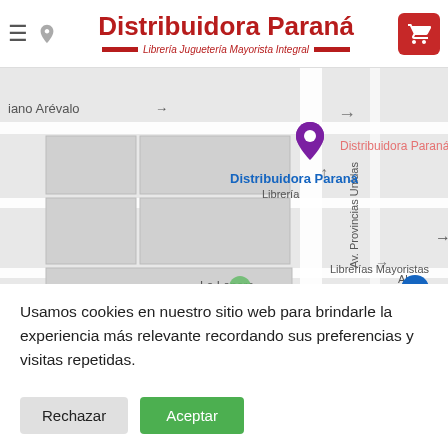Distribuidora Paraná — Librería Juguetería Mayorista Integral
[Figure (map): Google Maps screenshot showing the location of Distribuidora Paraná librería on a street map. Labels visible: 'iano Arévalo', 'Distribuidora Paraná', 'Librería', 'Distribuidora Paraná' (pin label in pink), 'La Lonera', 'Librerías Mayoristas', 'Av. Provincias Unidas', 'Ale', 'Ca', 'Con', 'UNO BALD...']
Usamos cookies en nuestro sitio web para brindarle la experiencia más relevante recordando sus preferencias y visitas repetidas.
Rechazar
Aceptar